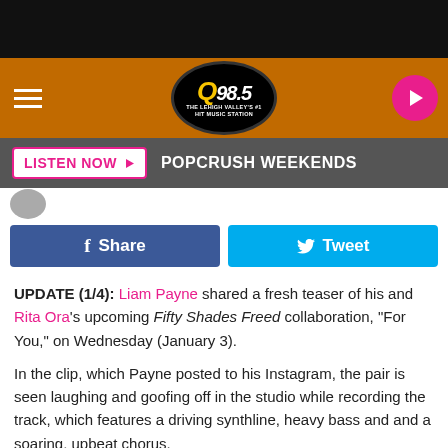[Figure (screenshot): Q98.5 radio station website screenshot showing navigation bar with hamburger menu, Q98.5 logo, and play button]
LISTEN NOW ▶  POPCRUSH WEEKENDS
Share   Tweet
UPDATE (1/4): Liam Payne shared a fresh teaser of his and Rita Ora's upcoming Fifty Shades Freed collaboration, "For You," on Wednesday (January 3).
In the clip, which Payne posted to his Instagram, the pair is seen laughing and goofing off in the studio while recording the track, which features a driving synthline, heavy bass and and a soaring, upbeat chorus.